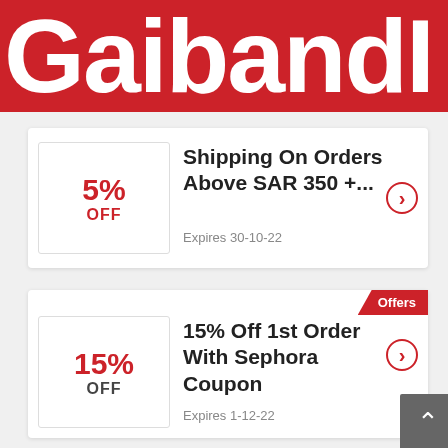[Figure (logo): GaibandI red header logo/banner, white bold text on red background, partially cropped on right]
5% OFF
Shipping On Orders Above SAR 350 +...
Expires 30-10-22
Offers
15% OFF
15% Off 1st Order With Sephora Coupon
Expires 1-12-22
Offers